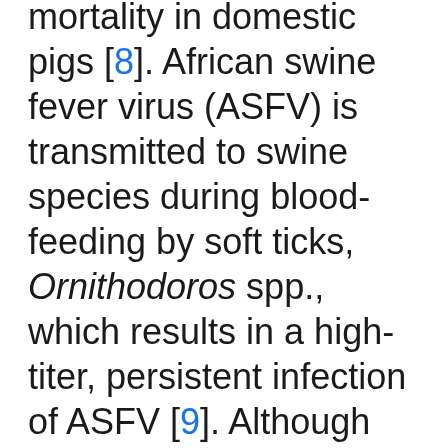mortality in domestic pigs [8]. African swine fever virus (ASFV) is transmitted to swine species during blood-feeding by soft ticks, Ornithodoros spp., which results in a high-titer, persistent infection of ASFV [9]. Although there are no reports of ASF, the transmission of this infection should be investigated as the